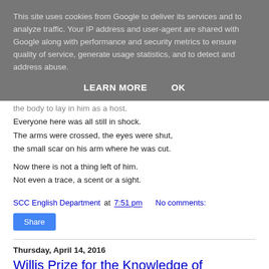This site uses cookies from Google to deliver its services and to analyze traffic. Your IP address and user-agent are shared with Google along with performance and security metrics to ensure quality of service, generate usage statistics, and to detect and address abuse.
LEARN MORE   OK
the body to lay in him as a host.
Everyone here was all still in shock.
The arms were crossed, the eyes were shut,
the small scar on his arm where he was cut.
Now there is not a thing left of him.
Not even a trace, a scent or a sight.
SCC English Department at 7:51 pm   No comments:
Share
Thursday, April 14, 2016
Willis Prize for the Knowledge of